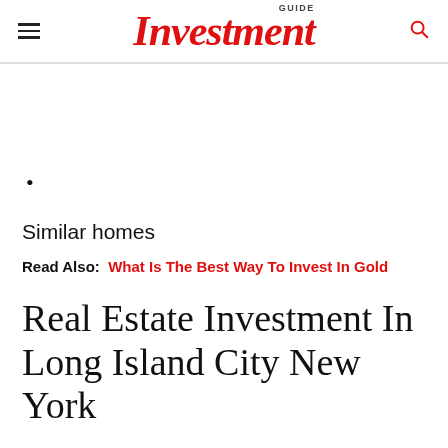Investment GUIDE
•
Similar homes
Read Also: What Is The Best Way To Invest In Gold
Real Estate Investment In Long Island City New York